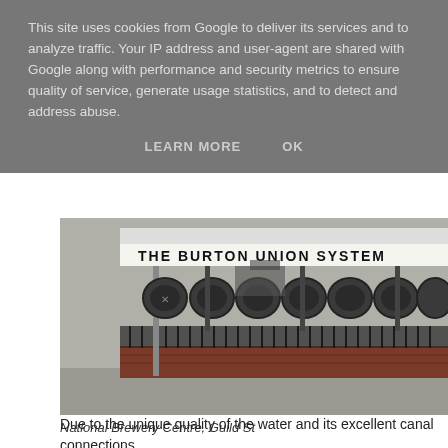This site uses cookies from Google to deliver its services and to analyze traffic. Your IP address and user-agent are shared with Google along with performance and security metrics to ensure quality of service, generate usage statistics, and to detect and address abuse.
LEARN MORE   OK
[Figure (photo): Photograph of the National Brewery Centre on Guild St, showing large brewing vessels (Burton Union system casks) on display under a covered industrial shed with a sign reading 'THE BURTON UNION SYSTEM'. Red brick lower wall, iron fencing, and grey concrete forecourt visible.]
National Brewery Centre, Guild St
Due to the unique quality of the water and its excellent canal connections,